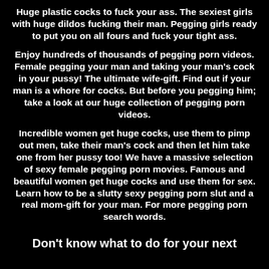Huge plastic cocks to fuck your ass. The sexiest girls with huge dildos fucking their man. Pegging girls ready to put you on all fours and fuck your tight ass.
Enjoy hundreds of thousands of pegging porn videos. Female pegging your man and taking your man's cock in your pussy! The ultimate wife-gift. Find out if your man is a whore for cocks. But before you pegging him; take a look at our huge collection of pegging porn videos.
Incredible women get huge cocks, use them to pimp out men, take their man's cock and then let him take one from her pussy too! We have a massive selection of sexy female pegging porn movies. Famous and beautiful women get huge cocks and use them for sex. Learn how to be a slutty sexy pegging porn slut and a real mom-gift for your man. For more pegging porn search words.
Don't know what to do for your next